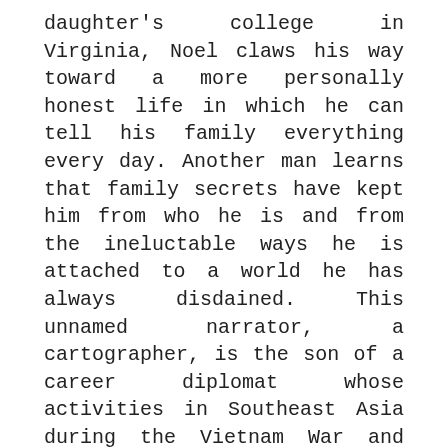daughter's college in Virginia, Noel claws his way toward a more personally honest life in which he can tell his family everything every day. Another man learns that family secrets have kept him from who he is and from the ineluctable ways he is attached to a world he has always disdained. This unnamed narrator, a cartographer, is the son of a career diplomat whose activities in Southeast Asia during the Vietnam War and then in Europe during the Cold War may not have been what they were said to be. He, too, travels to Switzerland, but his quest is not to release himself from secrecy—it is to learn how deep the secrets in his own life go. With a voice like John le Carré's and the international sensibility of Graham Greene, Frederick Reuss examines the unavoidably covert nature of lives that make their circles through Washington, DC. A Geography of